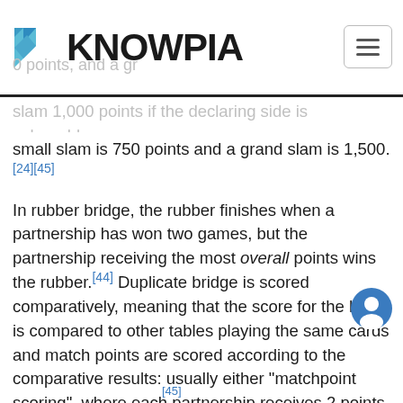KNOWPIA
small slam is 750 points and a grand slam is 1,500.[24][45]
In rubber bridge, the rubber finishes when a partnership has won two games, but the partnership receiving the most overall points wins the rubber.[44] Duplicate bridge is scored comparatively, meaning that the score for the hand is compared to other tables playing the same cards and match points are scored according to the comparative results: usually either "matchpoint scoring", where each partnership receives 2 points (or 1 point) for each pair that they beat, and 1 point (or 1⁄2 point) for each tie; or IMP- (international matchpoint) scoring, where the num of IMPs varies (but less than proportionately) with the [45]